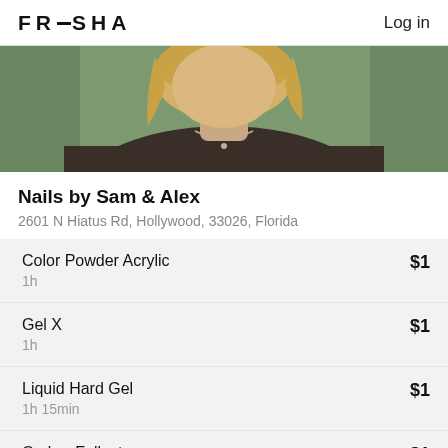FRESHA  Log in
[Figure (photo): Cropped photo of a person with blonde hair wearing a dark ribbed sweater and necklace, against a green background]
Nails by Sam & Alex
2601 N Hiatus Rd, Hollywood, 33026, Florida
Color Powder Acrylic  $1  1h
Gel X  $1  1h
Liquid Hard Gel  $1  1h 15min
Ombre Fullset  $1  1h